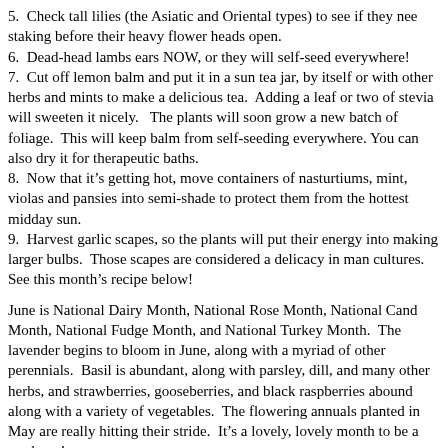5.  Check tall lilies (the Asiatic and Oriental types) to see if they need staking before their heavy flower heads open.
6.  Dead-head lambs ears NOW, or they will self-seed everywhere!
7.  Cut off lemon balm and put it in a sun tea jar, by itself or with other herbs and mints to make a delicious tea.  Adding a leaf or two of stevia will sweeten it nicely.   The plants will soon grow a new batch of foliage.  This will keep balm from self-seeding everywhere.  You can also dry it for therapeutic baths.
8.  Now that it’s getting hot, move containers of nasturtiums, mint, violas and pansies into semi-shade to protect them from the hottest midday sun.
9.  Harvest garlic scapes, so the plants will put their energy into making larger bulbs.  Those scapes are considered a delicacy in many cultures.  See this month’s recipe below!
June is National Dairy Month, National Rose Month, National Candy Month, National Fudge Month, and National Turkey Month.  The lavender begins to bloom in June, along with a myriad of other perennials.  Basil is abundant, along with parsley, dill, and many other herbs, and strawberries, gooseberries, and black raspberries abound along with a variety of vegetables.  The flowering annuals planted in May are really hitting their stride.  It’s a lovely, lovely month to be a gardener!
Herb to Know: Comfrey